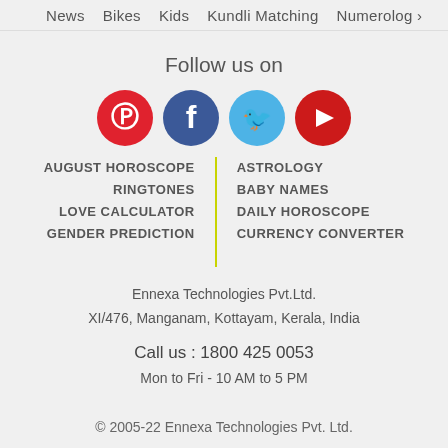News  Bikes  Kids  Kundli Matching  Numerolog >
Follow us on
[Figure (illustration): Four social media icons in circles: Pinterest (red), Facebook (dark blue), Twitter (light blue), YouTube (red)]
AUGUST HOROSCOPE
RINGTONES
LOVE CALCULATOR
GENDER PREDICTION
ASTROLOGY
BABY NAMES
DAILY HOROSCOPE
CURRENCY CONVERTER
Ennexa Technologies Pvt.Ltd.
XI/476, Manganam, Kottayam, Kerala, India
Call us : 1800 425 0053
Mon to Fri - 10 AM to 5 PM
© 2005-22 Ennexa Technologies Pvt. Ltd.
Privacy   TOS   Disclaimer   Cookies